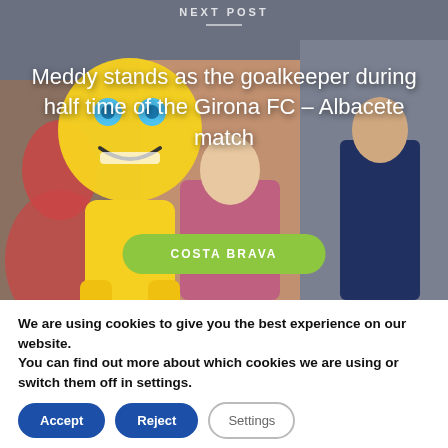NEXT POST
[Figure (photo): Photo of a yellow mascot in a sports stadium with fans holding ENHORABONA! signs in the background. Crowd and football match setting.]
Meddy stands as the goalkeeper during half time of the Girona FC – Albacete match
COSTA BRAVA
We are using cookies to give you the best experience on our website.
You can find out more about which cookies we are using or switch them off in settings.
Accept | Reject | Settings